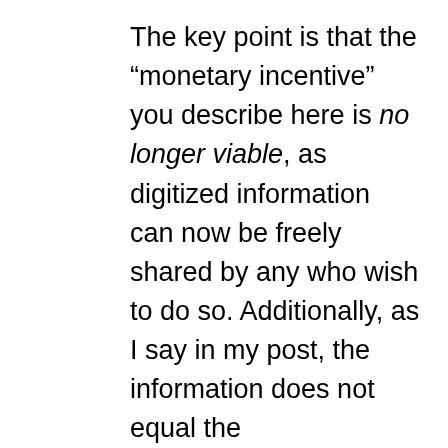The key point is that the “monetary incentive” you describe here is no longer viable, as digitized information can now be freely shared by any who wish to do so. Additionally, as I say in my post, the information does not equal the implementation. Nobody is denying companies the opportunity to profit off of their work. It is simply that people who value the free sharing of information more than short-term monetary gain now have the ability to do so. I think these people are in the right, even though this causes upheaval in the way things have been done for years. There is still plenty of opportunity for profiteering, one simply has to find ways of utilizing the world’s most